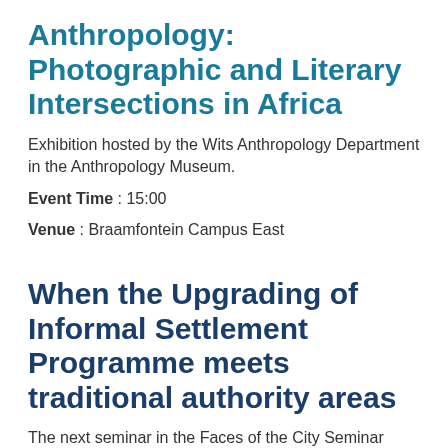Anthropology: Photographic and Literary Intersections in Africa
Exhibition hosted by the Wits Anthropology Department in the Anthropology Museum.
Event Time : 15:00
Venue : Braamfontein Campus East
When the Upgrading of Informal Settlement Programme meets traditional authority areas
The next seminar in the Faces of the City Seminar Series.
Event Time : 16:00
Venue : Braamfontein Campus East